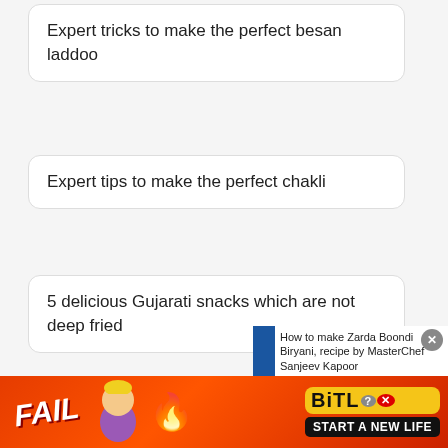Expert tricks to make the perfect besan laddoo
Expert tips to make the perfect chakli
5 delicious Gujarati snacks which are not deep fried
5 Energy boosting foo...
Three Party Menu Ide...
8 ve...
[Figure (screenshot): Featured recipes panel showing 'How to make Zarda Boondi Biryani, recipe by MasterChef Sanjeev Kapoor' with a photo of a biryani dish and a blue vertical sidebar labeled 'FEATURED RECIPES'. A close (x) button is visible.]
[Figure (screenshot): Advertisement banner for BitLife mobile game with red background, 'FAIL' text, cartoon character, flame, BitLife logo and 'START A NEW LIFE' text.]